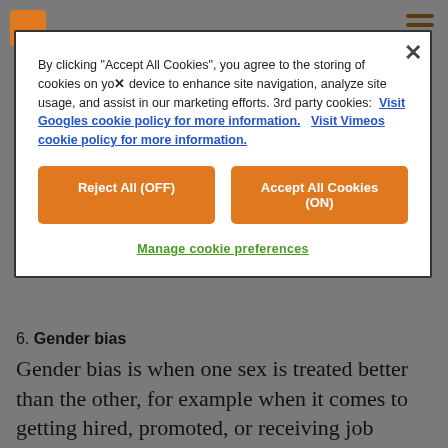[Figure (screenshot): Cookie consent modal dialog with 'Reject All (OFF)' and 'Accept All Cookies (ON)' orange buttons, close X button, and 'Manage cookie preferences' link in green.]
6. Gender bias
Gender bias is when one sex is treated better than the other, for example when it comes to getting hired, promoted, or receiving job